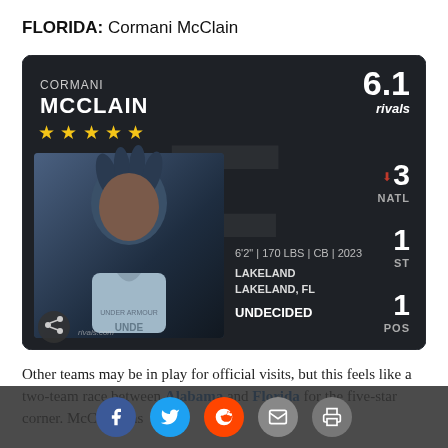FLORIDA: Cormani McClain
[Figure (infographic): Rivals recruit profile card for Cormani McClain. Dark card showing player name CORMANI MCCLAIN, 5 gold stars, score 6.1 rivals, rankings: NATL 3, ST 1, POS 1. Stats: 6'2" | 170 LBS | CB | 2023, school LAKELAND, LAKELAND FL, UNDECIDED. Player photo on left side.]
Other teams may be in play for official visits, but this feels like a two-team race between Alabama and Florida for the five-star corner. McClain has